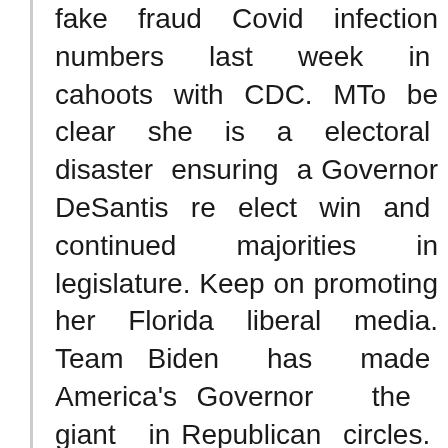fake fraud Covid infection numbers last week in cahoots with CDC. MTo be clear she is a electoral disaster ensuring a Governor DeSantis re elect win and continued majorities in legislature. Keep on promoting her Florida liberal media. Team Biden has made America's Governor the giant in Republican circles. Joe was critical of DeSantis when he replied to Charlie few months back, but had failed to acknowledge the foolish Biden team. As for the census, Repub. will make gain in Florida